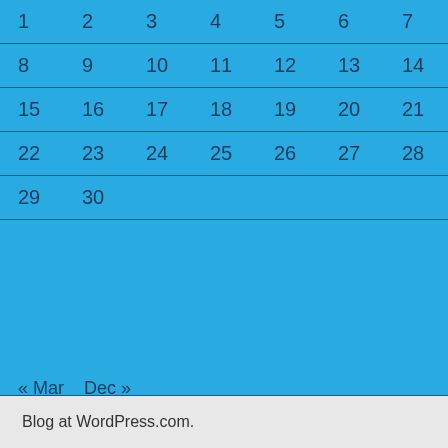| 1 | 2 | 3 | 4 | 5 | 6 | 7 |
| 8 | 9 | 10 | 11 | 12 | 13 | 14 |
| 15 | 16 | 17 | 18 | 19 | 20 | 21 |
| 22 | 23 | 24 | 25 | 26 | 27 | 28 |
| 29 | 30 |  |  |  |  |  |
« Mar    Dec »
Blog at WordPress.com.